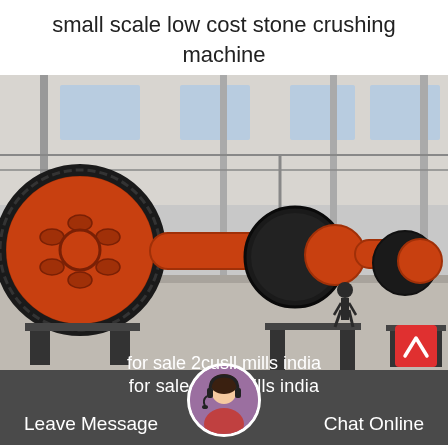small scale low cost stone crushing machine
[Figure (photo): Industrial ball mills lined up in a large factory warehouse — several large orange cylindrical ball mill machines with black gear wheels, arranged in a row on the factory floor under a steel-framed roof structure.]
for sale 2cus ll mills india
Leave Message   Chat Online